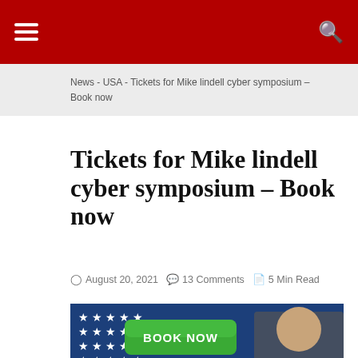☰  [hamburger menu]  🔍 [search icon]
News - USA - Tickets for Mike lindell cyber symposium – Book now
Tickets for Mike lindell cyber symposium – Book now
August 20, 2021  13 Comments  5 Min Read
[Figure (photo): Promotional image showing a green BOOK NOW button with a cursor hand clicking it, against an American flag background, with a man in a suit visible on the right side. Text at the bottom reads TICKETS FOR MIKE LINDELL.]